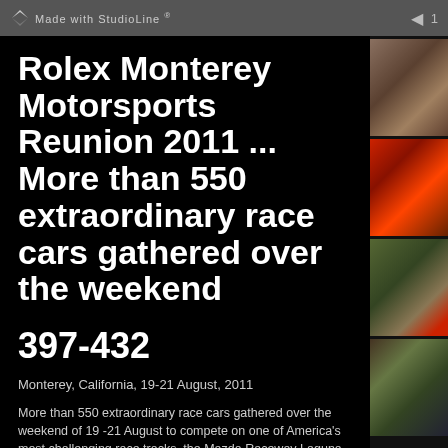Made with StudioLine ®
Rolex Monterey Motorsports Reunion 2011 ... More than 550 extraordinary race cars gathered over the weekend
397-432
Monterey, California, 19-21 August, 2011
More than 550 extraordinary race cars gathered over the weekend of 19 -21 August to compete on one of America's most challenging race tracks, the Mazda Raceway Laguna Seca in Monterey, Calif. The demanding 2.238 mile road course with its 11 turns and 300 ft change in elevation provides thrills in equal amounts for competiors and spectators alike, the latter being able
[Figure (photo): Racing car on track, aerial/hillside view]
[Figure (photo): Racing car on track, orange barrier visible]
[Figure (photo): Red classic racing car on track with hillside]
[Figure (photo): Racing cars on track, blue markings visible]